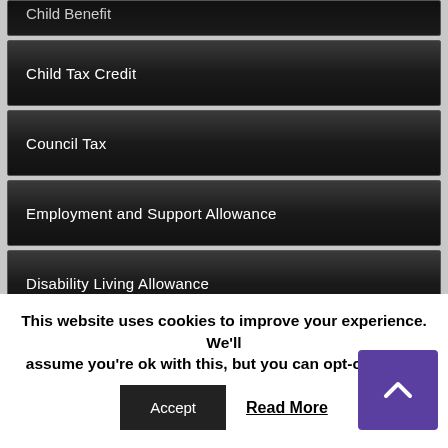Child Benefit
Child Tax Credit
Council Tax
Employment and Support Allowance
Disability Living Allowance
Housing Benefit
Income Support
Jobseeker's Allowance
Personal Independence Payment
This website uses cookies to improve your experience. We'll assume you're ok with this, but you can opt-out if you
Accept
Read More